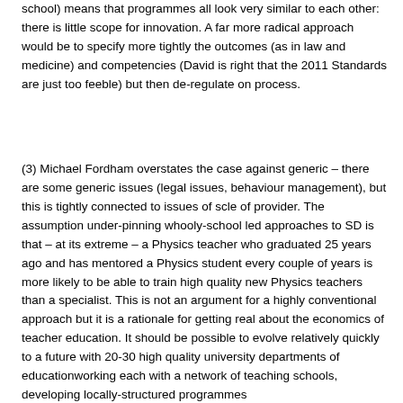school) means that programmes all look very similar to each other: there is little scope for innovation. A far more radical approach would be to specify more tightly the outcomes (as in law and medicine) and competencies (David is right that the 2011 Standards are just too feeble) but then de-regulate on process.
(3) Michael Fordham overstates the case against generic – there are some generic issues (legal issues, behaviour management), but this is tightly connected to issues of scle of provider. The assumption under-pinning whooly-school led approaches to SD is that – at its extreme – a Physics teacher who graduated 25 years ago and has mentored a Physics student every couple of years is more likely to be able to train high quality new Physics teachers than a specialist. This is not an argument for a highly conventional approach but it is a rationale for getting real about the economics of teacher education. It should be possible to evolve relatively quickly to a future with 20-30 high quality university departments of educationworking each with a network of teaching schools, developing locally-structured programmes